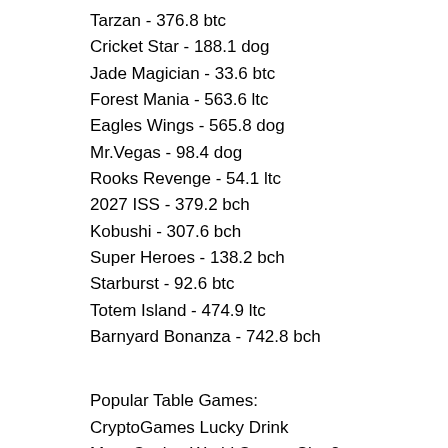Tarzan - 376.8 btc
Cricket Star - 188.1 dog
Jade Magician - 33.6 btc
Forest Mania - 563.6 ltc
Eagles Wings - 565.8 dog
Mr.Vegas - 98.4 dog
Rooks Revenge - 54.1 ltc
2027 ISS - 379.2 bch
Kobushi - 307.6 bch
Super Heroes - 138.2 bch
Starburst - 92.6 btc
Totem Island - 474.9 ltc
Barnyard Bonanza - 742.8 bch
Popular Table Games:
CryptoGames Lucky Drink
Mars Casino World Soccer Slot 2
CryptoWild Casino Floras Secret
Cloudbet Casino Milady X2
Oshi Casino Brilliants Hot
Betcoin.ag Casino Slot...